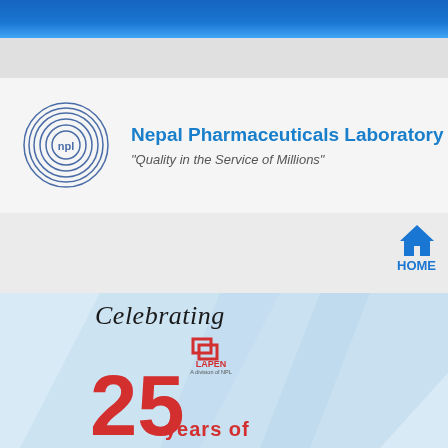[Figure (logo): NPL circular logo with concentric rings and npl text in center]
Nepal Pharmaceuticals Laboratory Pvt. Ltd.
"Quality in the Service of Millions"
[Figure (screenshot): Navigation bar with HOME icon and label]
[Figure (infographic): Banner slide celebrating 25 years of LAPEN, a division of NPL, with large red 25 and cursive Celebrating text, left navigation arrow]